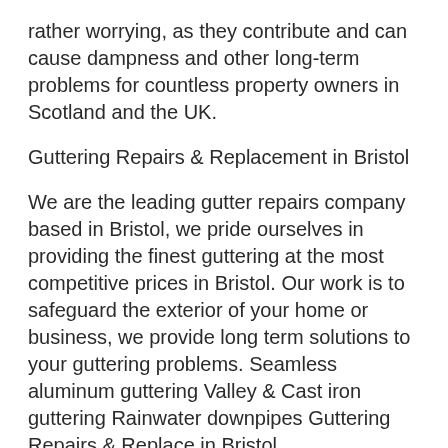rather worrying, as they contribute and can cause dampness and other long-term problems for countless property owners in Scotland and the UK.
Guttering Repairs & Replacement in Bristol
We are the leading gutter repairs company based in Bristol, we pride ourselves in providing the finest guttering at the most competitive prices in Bristol. Our work is to safeguard the exterior of your home or business, we provide long term solutions to your guttering problems. Seamless aluminum guttering Valley & Cast iron guttering Rainwater downpipes Guttering Repairs & Replace in Bristol